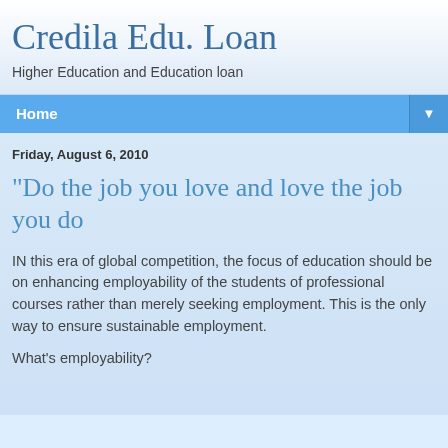Credila Edu. Loan
Higher Education and Education loan
Home ▼
Friday, August 6, 2010
"Do the job you love and love the job you do
IN this era of global competition, the focus of education should be on enhancing employability of the students of professional courses rather than merely seeking employment. This is the only way to ensure sustainable employment.
What's employability?